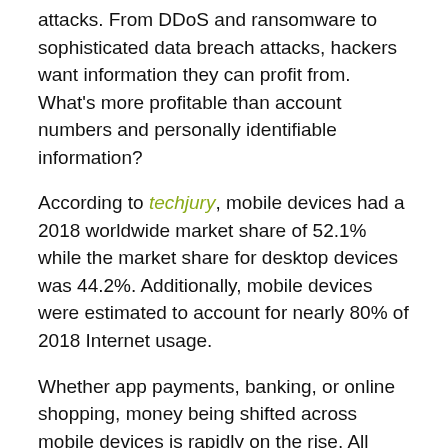attacks. From DDoS and ransomware to sophisticated data breach attacks, hackers want information they can profit from. What's more profitable than account numbers and personally identifiable information?
According to techjury, mobile devices had a 2018 worldwide market share of 52.1% while the market share for desktop devices was 44.2%. Additionally, mobile devices were estimated to account for nearly 80% of 2018 Internet usage.
Whether app payments, banking, or online shopping, money being shifted across mobile devices is rapidly on the rise. All companies, including finance, have to protect their customers' information, as data leaks are now almost a daily occurrence.
With edge security, financial companies enable